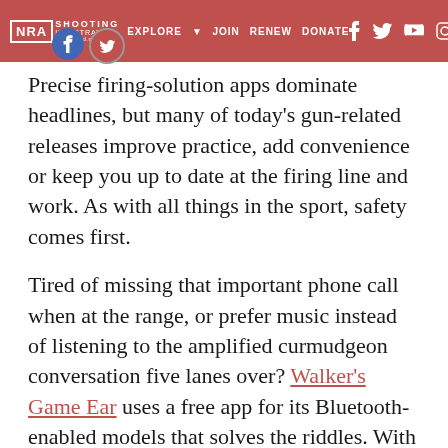NRA SHOOTING ILLUSTRATED | EXPLORE | JOIN | RENEW | DONATE
Precise firing-solution apps dominate headlines, but many of today's gun-related releases improve practice, add convenience or keep you up to date at the firing line and work. As with all things in the sport, safety comes first.
Tired of missing that important phone call when at the range, or prefer music instead of listening to the amplified curmudgeon conversation five lanes over? Walker's Game Ear uses a free app for its Bluetooth-enabled models that solves the riddles. With four listening modes, auto shut-off settings and more, it runs the company's latest models—including the Silencer BT 2.0—seamlessly.
The company released Walker's Link 2.0 in June, an